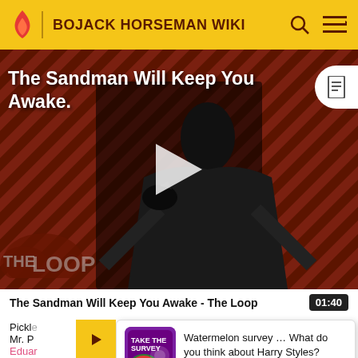BOJACK HORSEMAN WIKI
[Figure (screenshot): Video thumbnail showing a man in black coat with crow, diagonal stripe background in dark red/brown. Title overlay reads 'The Sandman Will Keep You Awake.' with play button and 'THE LOOP' logo at bottom.]
The Sandman Will Keep You Awake - The Loop
01:40
Watermelon survey … What do you think about Harry Styles?
TAKE THE SURVEY HERE